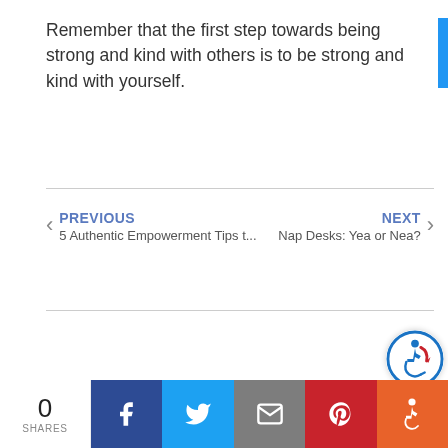Remember that the first step towards being strong and kind with others is to be strong and kind with yourself.
< PREVIOUS
5 Authentic Empowerment Tips t...
NEXT >
Nap Desks: Yea or Nea?
0 SHARES | Facebook | Twitter | Email | Pinterest | Accessibility